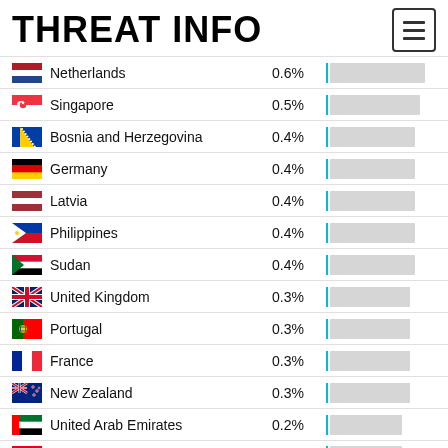THREAT INFO
| Country | Percent | Bar |
| --- | --- | --- |
| Netherlands | 0.6% |  |
| Singapore | 0.5% |  |
| Bosnia and Herzegovina | 0.4% |  |
| Germany | 0.4% |  |
| Latvia | 0.4% |  |
| Philippines | 0.4% |  |
| Sudan | 0.4% |  |
| United Kingdom | 0.3% |  |
| Portugal | 0.3% |  |
| France | 0.3% |  |
| New Zealand | 0.3% |  |
| United Arab Emirates | 0.2% |  |
| Tunisia | 0.2% |  |